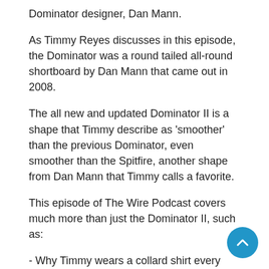Dominator designer, Dan Mann.
As Timmy Reyes discusses in this episode, the Dominator was a round tailed all-round shortboard by Dan Mann that came out in 2008.
The all new and updated Dominator II is a shape that Timmy describe as 'smoother' than the previous Dominator, even smoother than the Spitfire, another shape from Dan Mann that Timmy calls a favorite.
This episode of The Wire Podcast covers much more than just the Dominator II, such as:
- Why Timmy wears a collard shirt every Monday, and what its like to not have a 'real job'.
- The fin system that Timmy says feels the loosest, and the system that Timmy says feels the most drivey.